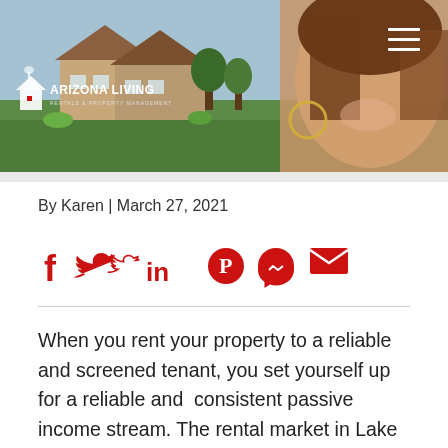[Figure (photo): Arizona Living Rentals & Property Management website header banner showing a house with green lawn and a smiling woman with curly brown hair on the right side. White logo with house icon and company name on the left. Hamburger menu icon on top right.]
By Karen | March 27, 2021
[Figure (infographic): Row of six red social media icons: Facebook (f), Twitter (bird), LinkedIn (in), Pinterest (P), Messenger (chat bubble with lightning), Email (envelope)]
When you rent your property to a reliable and screened tenant, you set yourself up for a reliable and  consistent passive income stream. The rental market in Lake Havasu City is one of the very best in the nation for reliable tenancies through all seasons.  Winter rentals are wonderful for those with high-end properties